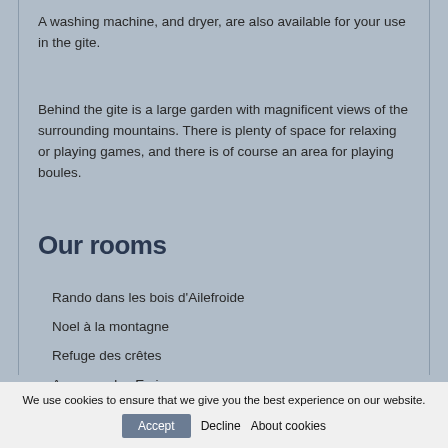A washing machine, and dryer, are also available for your use in the gite.
Behind the gite is a large garden with magnificent views of the surrounding mountains. There is plenty of space for relaxing or playing games, and there is of course an area for playing boules.
Our rooms
Rando dans les bois d'Ailefroide
Noel à la montagne
Refuge des crêtes
Au coeur des Ecrins
We use cookies to ensure that we give you the best experience on our website.  Accept  Decline  About cookies